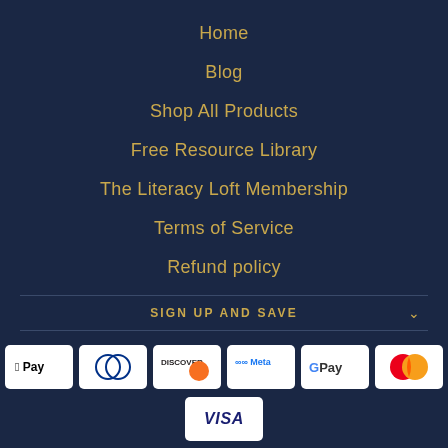Home
Blog
Shop All Products
Free Resource Library
The Literacy Loft Membership
Terms of Service
Refund policy
SIGN UP AND SAVE
[Figure (other): Payment method logos: AMEX, Apple Pay, Diners, Discover, Meta, Google Pay, Mastercard, OPay, Visa]